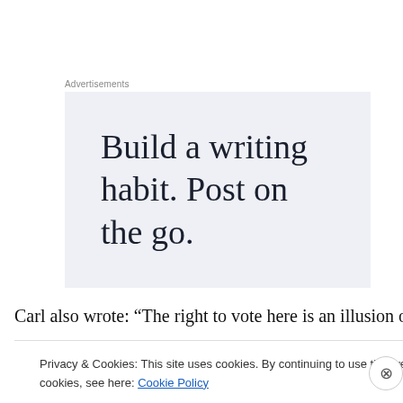Advertisements
[Figure (other): Advertisement banner with text: Build a writing habit. Post on the go.]
Carl also wrote: “The right to vote here is an illusion of
Privacy & Cookies: This site uses cookies. By continuing to use this website, you agree to their use. To find out more, including how to control cookies, see here: Cookie Policy
Close and accept